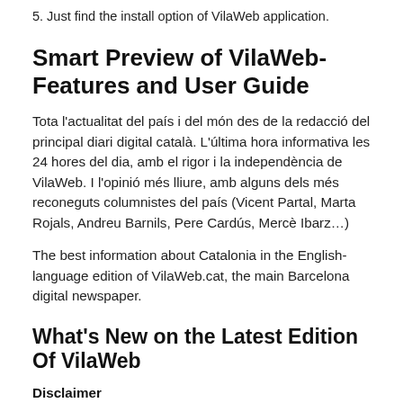5. Just find the install option of VilaWeb application.
Smart Preview of VilaWeb-Features and User Guide
Tota l'actualitat del país i del món des de la redacció del principal diari digital català. L'última hora informativa les 24 hores del dia, amb el rigor i la independència de VilaWeb. I l'opinió més lliure, amb alguns dels més reconeguts columnistes del país (Vicent Partal, Marta Rojals, Andreu Barnils, Pere Cardús, Mercè Ibarz…)
The best information about Catalonia in the English-language edition of VilaWeb.cat, the main Barcelona digital newspaper.
What's New on the Latest Edition Of VilaWeb
Disclaimer
We are not claiming ownership of this app. Alos, we are not